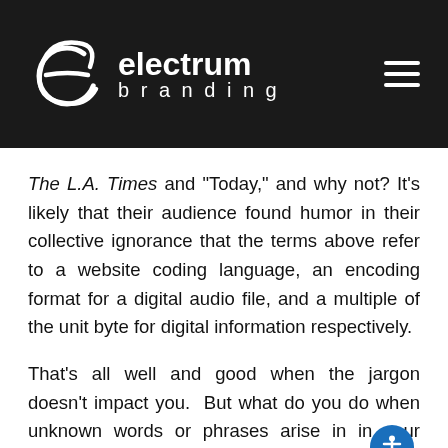[Figure (logo): Electrum Branding logo: white stylized 'e' icon on dark background with 'electrum branding' text in white, and a hamburger menu icon on the right]
The L.A. Times and "Today," and why not? It's likely that their audience found humor in their collective ignorance that the terms above refer to a website coding language, an encoding format for a digital audio file, and a multiple of the unit byte for digital information respectively.
That's all well and good when the jargon doesn't impact you.  But what do you do when unknown words or phrases arise in in your professional or personal life?  Do